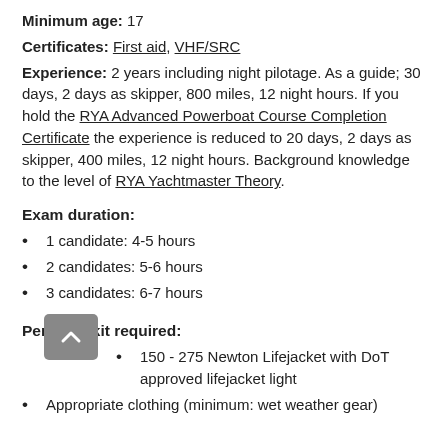Minimum age: 17
Certificates: First aid, VHF/SRC
Experience: 2 years including night pilotage. As a guide; 30 days, 2 days as skipper, 800 miles, 12 night hours. If you hold the RYA Advanced Powerboat Course Completion Certificate the experience is reduced to 20 days, 2 days as skipper, 400 miles, 12 night hours. Background knowledge to the level of RYA Yachtmaster Theory.
Exam duration:
1 candidate: 4-5 hours
2 candidates: 5-6 hours
3 candidates: 6-7 hours
Personal kit required:
150 - 275 Newton Lifejacket with DoT approved lifejacket light
Appropriate clothing (minimum: wet weather gear)